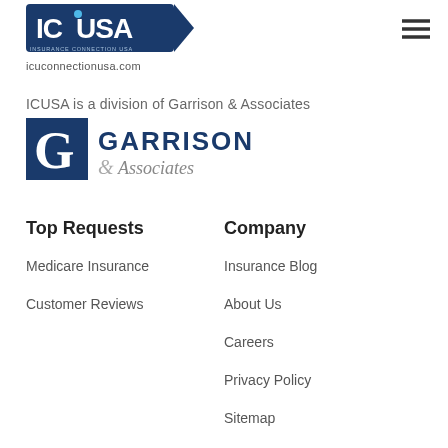[Figure (logo): ICUSA Insurance Connection USA logo — white text on dark blue square background]
[Figure (logo): Hamburger menu icon (three horizontal lines)]
icuconnectionusa.com
ICUSA is a division of Garrison & Associates
[Figure (logo): Garrison & Associates logo — dark blue square with white G, followed by GARRISON & Associates text]
Top Requests
Company
Medicare Insurance
Customer Reviews
Insurance Blog
About Us
Careers
Privacy Policy
Sitemap